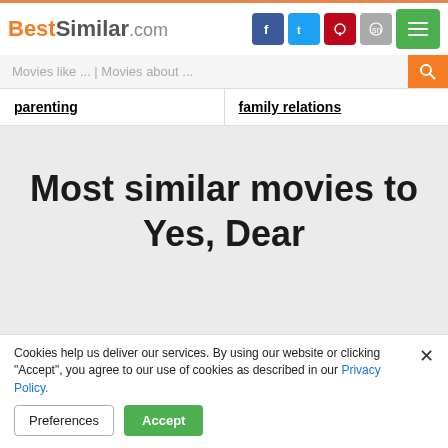BestSimilar.com
Movies like ... | Movies about ...
parenting
family relations
Most similar movies to Yes, Dear
Cookies help us deliver our services. By using our website or clicking "Accept", you agree to our use of cookies as described in our Privacy Policy.